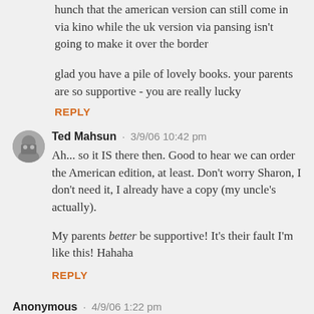hunch that the american version can still come in via kino while the uk version via pansing isn't going to make it over the border
glad you have a pile of lovely books. your parents are so supportive - you are really lucky
REPLY
Ted Mahsun · 3/9/06 10:42 pm
Ah... so it IS there then. Good to hear we can order the American edition, at least. Don't worry Sharon, I don't need it, I already have a copy (my uncle's actually).
My parents better be supportive! It's their fault I'm like this! Hahaha
REPLY
Anonymous · 4/9/06 1:22 pm